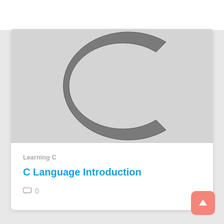[Figure (illustration): Large letter C graphic rendered in gray on a light gray background, representing the C programming language logo.]
Learning C
C Language Introduction
0